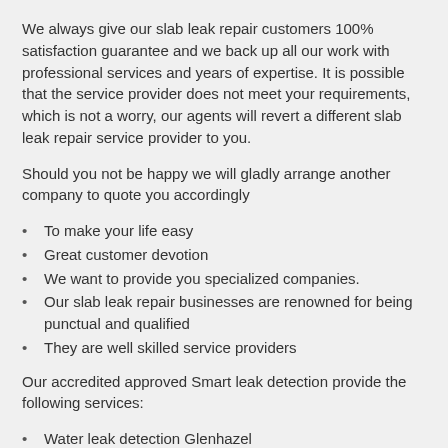We always give our slab leak repair customers 100% satisfaction guarantee and we back up all our work with professional services and years of expertise. It is possible that the service provider does not meet your requirements, which is not a worry, our agents will revert a different slab leak repair service provider to you.
Should you not be happy we will gladly arrange another company to quote you accordingly
To make your life easy
Great customer devotion
We want to provide you specialized companies.
Our slab leak repair businesses are renowned for being punctual and qualified
They are well skilled service providers
Our accredited approved Smart leak detection provide the following services:
Water leak detection Glenhazel
Slab leak repair Glenhazel
Underground water leak detection Glenhazel
Leak detection services Glenhazel
Pipe repairs Glenhazel
Shower repairs Glenhazel
Water leak detection companies Glenhazel
Pipe installer Glenhazel
Leak detection company Glenhazel